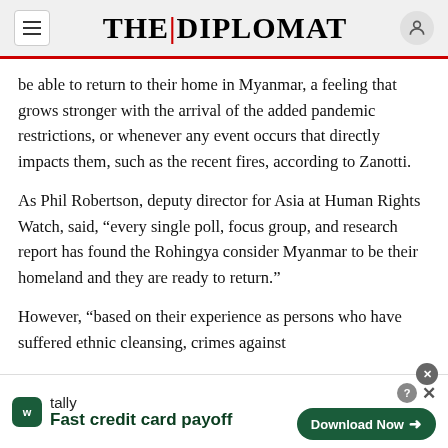THE|DIPLOMAT
be able to return to their home in Myanmar, a feeling that grows stronger with the arrival of the added pandemic restrictions, or whenever any event occurs that directly impacts them, such as the recent fires, according to Zanotti.
As Phil Robertson, deputy director for Asia at Human Rights Watch, said, “every single poll, focus group, and research report has found the Rohingya consider Myanmar to be their homeland and they are ready to return.”
However, “based on their experience as persons who have suffered ethnic cleansing, crimes against
[Figure (other): Tally app advertisement banner: tally icon, text 'tally / Fast credit card payoff', and 'Download Now' button with close/help icons]